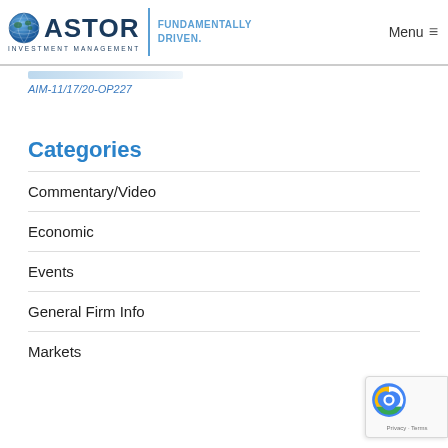ASTOR INVESTMENT MANAGEMENT — FUNDAMENTALLY DRIVEN. Menu
AIM-11/17/20-OP227
Categories
Commentary/Video
Economic
Events
General Firm Info
Markets